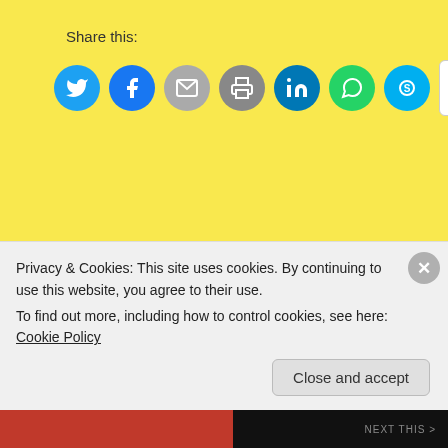Share this:
[Figure (infographic): Row of social share icon buttons: Twitter (blue circle), Facebook (blue circle), Email (grey circle), Print (grey circle), LinkedIn (dark blue circle), WhatsApp (green circle), Skype (light blue circle), and a More button with share icon]
Loading...
Author: manqindi
Privacy & Cookies: This site uses cookies. By continuing to use this website, you agree to their use.
To find out more, including how to control cookies, see here: Cookie Policy
Close and accept